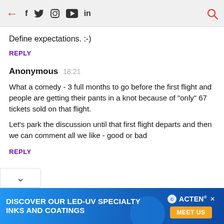← f 🐦 📷 ▶ in 🔍
Define expectations. :-)
REPLY
Anonymous  18:21
What a comedy - 3 full months to go before the first flight and people are getting their pants in a knot because of "only" 67 tickets sold on that flight.
Let's park the discussion until that first flight departs and then we can comment all we like - good or bad
REPLY
[Figure (screenshot): Advertisement banner: DISCOVER OUR LED-UV SPECIALTY INKS AND COATINGS with ACTEN logo and MEET US button]